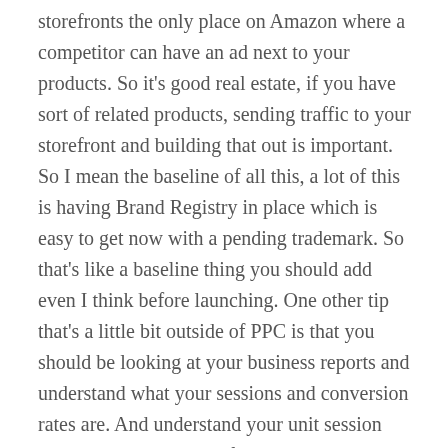storefronts the only place on Amazon where a competitor can have an ad next to your products. So it's good real estate, if you have sort of related products, sending traffic to your storefront and building that out is important. So I mean the baseline of all this, a lot of this is having Brand Registry in place which is easy to get now with a pending trademark. So that's like a baseline thing you should add even I think before launching. One other tip that's a little bit outside of PPC is that you should be looking at your business reports and understand what your sessions and conversion rates are. And understand your unit session percentage, you know, if your conversion rate is low, then you're gonna have a tough time with PPC, right if you have three, four or 5% conversion rates generally, unless your products are very expensive, generally, that's low, and you're gonna have a tough time, no matter what. The other thing is understanding math, understanding even ahead of launching a product entering in as if you're going to start a